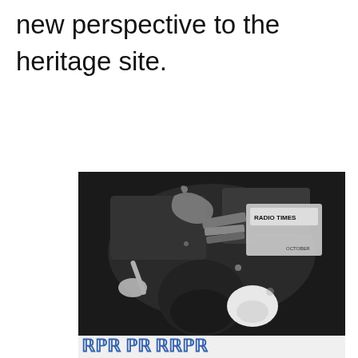new perspective to the heritage site.
[Figure (illustration): Black and white artwork/collage-style illustration showing various objects including what appears to be a Radio Times magazine, vessels, and other items arranged in a still-life composition. At the bottom is a decorative border with blue letter-like ornamental characters.]